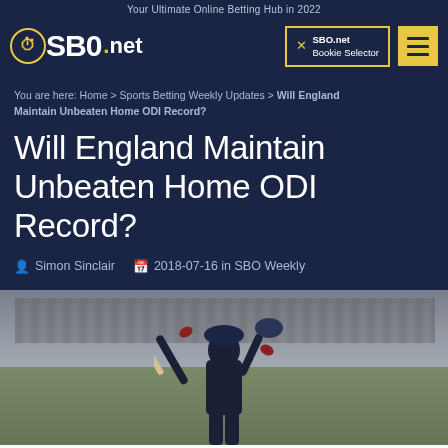Your Ultimate Online Betting Hub in 2022
[Figure (logo): SBO.net logo with stopwatch icon]
SBO.net Bookie Selector
You are here: Home > Sports Betting Weekly Updates > Will England Maintain Unbeaten Home ODI Record?
Will England Maintain Unbeaten Home ODI Record?
Simon Sinclair   2018-07-16 in SBO Weekly
[Figure (photo): Cricket player raising bat and helmet in celebration on a cricket field]